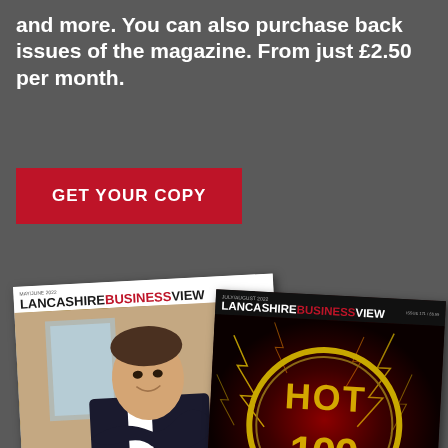and more. You can also purchase back issues of the magazine. From just £2.50 per month.
GET YOUR COPY
[Figure (photo): Two issues of Lancashire Business View magazine displayed overlapping. Left magazine shows a man in a suit with 'BANK ACCO...' text. Right magazine shows HOT 100 issue with fiery background.]